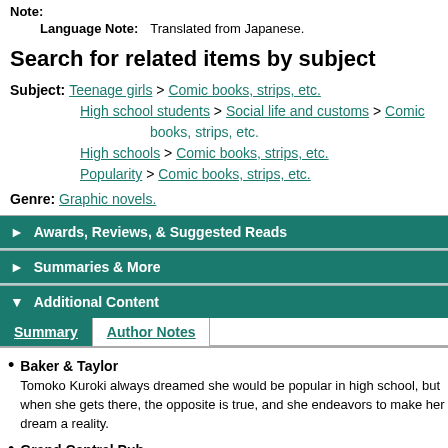Note:
Language Note:    Translated from Japanese.
Search for related items by subject
Subject: Teenage girls > Comic books, strips, etc. High school students > Social life and customs > Comic books, strips, etc. High schools > Comic books, strips, etc. Popularity > Comic books, strips, etc.
Genre: Graphic novels.
► Awards, Reviews, & Suggested Reads
► Summaries & More
▼ Additional Content
Summary  Author Notes
Baker & Taylor
Tomoko Kuroki always dreamed she would be popular in high school, but when she gets there, the opposite is true, and she endeavors to make her dream a reality.
Grand Central Pub
Tomoko Kuroki naturally assumed she'd be popular when she got to high school, but the opposite is true, and this is for the